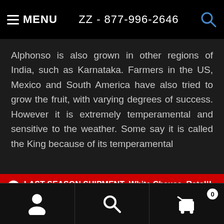MENU  ZZ - 877-996-2646
Alphonso is also grown in other regions of India, such as Karnataka. Farmers in the US, Mexico and South America have also tried to grow the fruit, with varying degrees of success. However it is extremely temperamental and sensitive to the weather. Some say it is called the King because of its temperamental
LAST SEASON SHIPMENT- White Chausa, Ratol!!.. Taking orders for the last time this year ... 2022 Mango Season Ends 8/29- ORDER NOW !! Shipped Fresh Every Week!! Dismiss